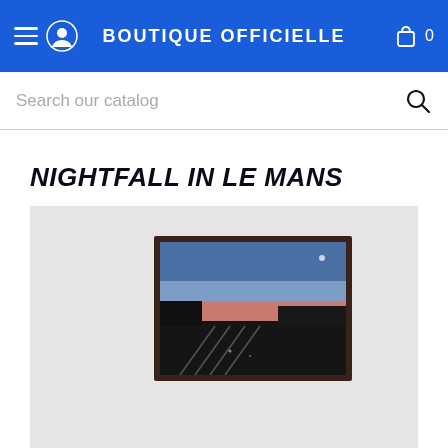BOUTIQUE OFFICIELLE
Search our catalog
NIGHTFALL IN LE MANS
[Figure (photo): Framed photograph displayed on a light grey wall showing a twilight/nightfall scene at Le Mans racing circuit with dark blue and pink/orange sky gradient, dark pit lane or track infrastructure in the foreground with light trails.]